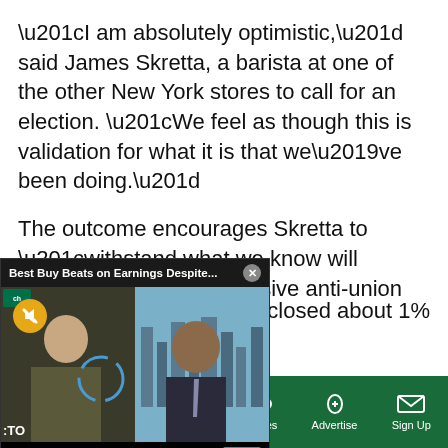“I am absolutely optimistic,” said James Skretta, a barista at one of the other New York stores to call for an election. “We feel as though this is validation for what it is that we’ve been doing.”
The outcome encourages Skretta to “withstand what we know will continue to be an aggressive anti-union
[Figure (screenshot): Video overlay popup titled 'Best Buy Beats on Earnings Despite...' with a close button X. Shows a TV news broadcast thumbnail with two anchors and lower-third caption 'BEST BUY BEATS ON EARNINGS DESPITE SALES DROP' with Cheddar News logo. A mute button (yellow circle with speaker icon) is visible top-left.]
any closed about 1%
what they said were
Sections | NY Edition | Philly | Games | Advertise | Sign Up